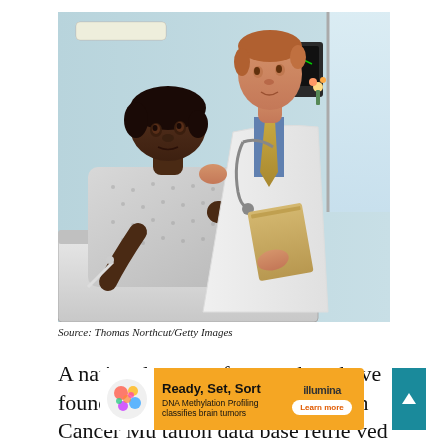[Figure (photo): A doctor in a white coat holding a folder leans over a female patient lying in a hospital bed wearing a hospital gown. They appear to be having a conversation in a hospital room with medical equipment visible in the background.]
Source: Thomas Northcut/Getty Images
A national group of researchers have found that the Cli... and Human Cancer Mutation data... d
[Figure (infographic): Advertisement banner: 'Ready, Set, Sort' with Illumina branding. DNA Methylation Profiling classifies brain tumors. Learn more button. Colorful brain logo on left.]